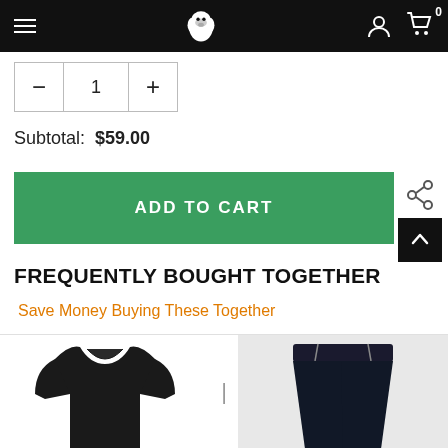Navigation bar with hamburger menu, gorilla logo, user icon, cart (0)
[Figure (screenshot): Quantity stepper with minus, 1, plus buttons]
Subtotal:  $59.00
[Figure (screenshot): Green ADD TO CART button]
[Figure (screenshot): Share icon and back-to-top arrow on right side]
FREQUENTLY BOUGHT TOGETHER
Save Money Buying These Together
[Figure (photo): Black long-sleeve shirt on left, black sweatpants on right, with plus sign between them]